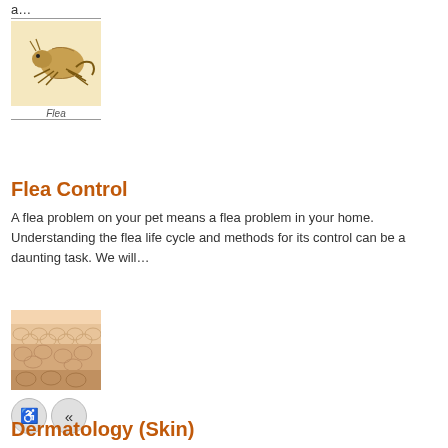a…
[Figure (illustration): Illustration of a flea insect with label 'Flea' at the bottom, bordered by horizontal rules]
Flea Control
A flea problem on your pet means a flea problem in your home. Understanding the flea life cycle and methods for its control can be a daunting task. We will…
[Figure (photo): Close-up cross-section image of skin layers (dermatology)]
Dermatology (Skin)